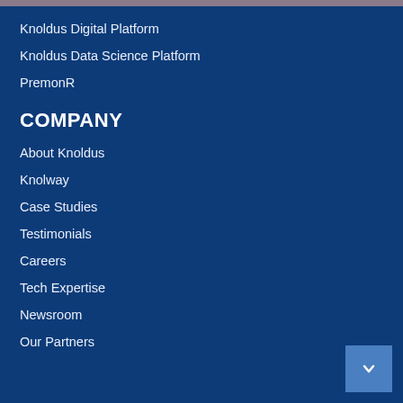Knoldus Digital Platform
Knoldus Data Science Platform
PremonR
COMPANY
About Knoldus
Knolway
Case Studies
Testimonials
Careers
Tech Expertise
Newsroom
Our Partners